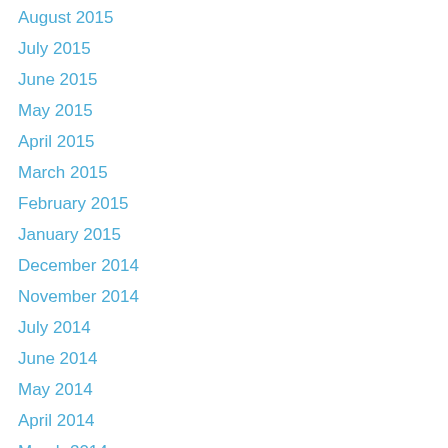August 2015
July 2015
June 2015
May 2015
April 2015
March 2015
February 2015
January 2015
December 2014
November 2014
July 2014
June 2014
May 2014
April 2014
March 2014
February 2014
January 2014
December 2013
November 2013
October 2013